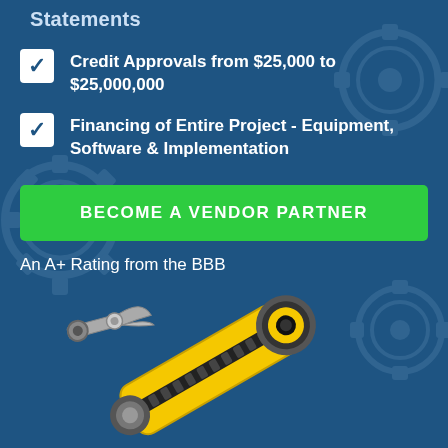Statements
Credit Approvals from $25,000 to $25,000,000
Financing of Entire Project - Equipment, Software & Implementation
BECOME A VENDOR PARTNER
An A+ Rating from the BBB
[Figure (illustration): Yellow and black industrial robotic arm with claw gripper on a dark blue background]